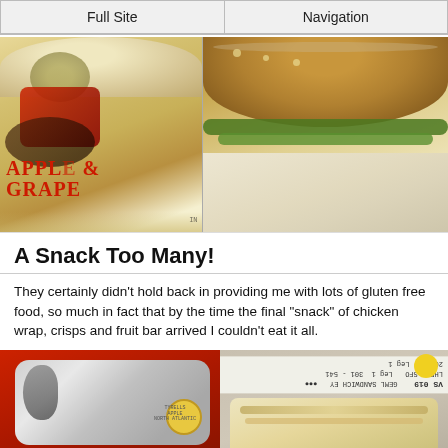Full Site | Navigation
[Figure (photo): Left half: packaged snack labeled 'APPLE & GRAPE' in red text on a plastic wrap with fruit visible. Right half: a sandwich with a seeded bun showing cucumber slices inside, wrapped in plastic.]
A Snack Too Many!
They certainly didn't hold back in providing me with lots of gluten free food, so much in fact that by the time the final "snack" of chicken wrap, crisps and fruit bar arrived I couldn't eat it all.
[Figure (photo): Left half: red box with a bag of Tyrells crisps and a red bar at the bottom with a large 'T' letter in white. Right half: a boarding pass/label showing 'VS 019', 'LHR - SFO', 'GEML SANDWICH EY' and other flight details upside down, with a chicken wrap visible below.]